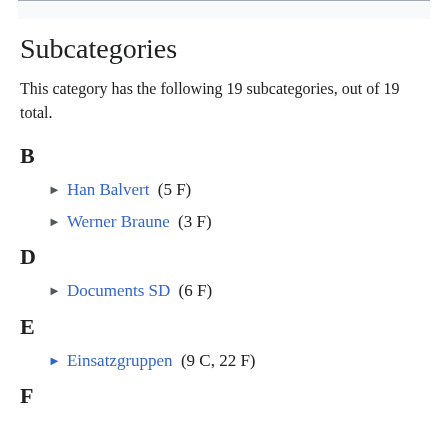Subcategories
This category has the following 19 subcategories, out of 19 total.
B
Han Balvert (5 F)
Werner Braune (3 F)
D
Documents SD (6 F)
E
Einsatzgruppen (9 C, 22 F)
F